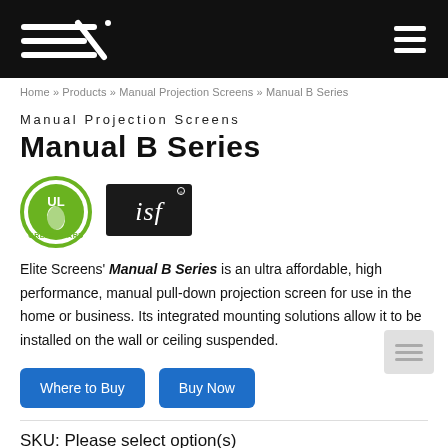Elite Screens logo and navigation menu
Home » Products » Manual Projection Screens » Manual B Series
Manual Projection Screens
Manual B Series
[Figure (logo): GREENGUARD UL certification logo (green circle with UL leaf) and ISF (Imaging Science Foundation) logo on black background]
Elite Screens' Manual B Series is an ultra affordable, high performance, manual pull-down projection screen for use in the home or business. Its integrated mounting solutions allow it to be installed on the wall or ceiling suspended.
Where to Buy  Buy Now
SKU: Please select option(s)